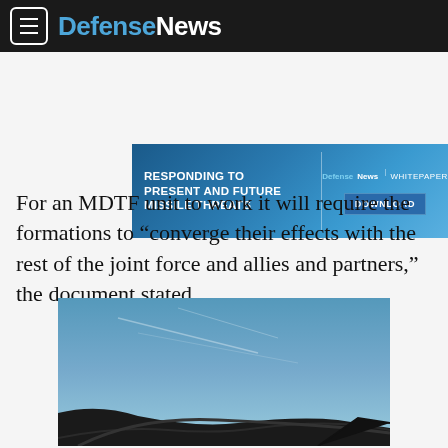DefenseNews
[Figure (screenshot): DefenseNews advertisement banner: 'Responding to Present and Future Missile Threats' whitepaper download]
For an MDTF unit to work it will require the formations to “converge their effects with the rest of the joint force and allies and partners,” the document stated.
[Figure (photo): Aerial photograph showing aircraft wings against a blue sky with contrails]